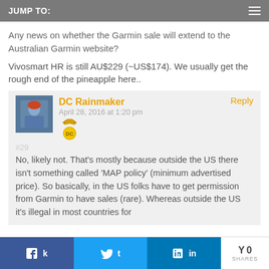JUMP TO:
Any news on whether the Garmin sale will extend to the Australian Garmin website?
Vivosmart HR is still AU$229 (~US$174). We usually get the rough end of the pineapple here..
DC Rainmaker
April 28, 2016 at 1:20 pm
#29
No, likely not. That's mostly because outside the US there isn't something called 'MAP policy' (minimum advertised price). So basically, in the US folks have to get permission from Garmin to have sales (rare). Whereas outside the US it's illegal in most countries for
0 SHARES